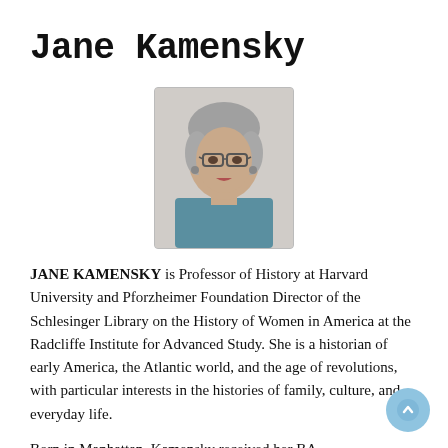Jane Kamensky
[Figure (photo): Portrait photo of Jane Kamensky, a woman with short gray hair and glasses, wearing a blue top, against a light background.]
JANE KAMENSKY is Professor of History at Harvard University and Pforzheimer Foundation Director of the Schlesinger Library on the History of Women in America at the Radcliffe Institute for Advanced Study. She is a historian of early America, the Atlantic world, and the age of revolutions, with particular interests in the histories of family, culture, and everyday life.
Born in Manhattan, Kamensky received her BA